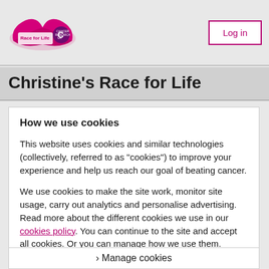[Figure (logo): Race for Life / Cancer Research UK logo — pink ribbon with text]
Log in
Christine's Race for Life
How we use cookies
This website uses cookies and similar technologies (collectively, referred to as "cookies") to improve your experience and help us reach our goal of beating cancer.
We use cookies to make the site work, monitor site usage, carry out analytics and personalise advertising. Read more about the different cookies we use in our cookies policy. You can continue to the site and accept all cookies. Or you can manage how we use them.
› Manage cookies